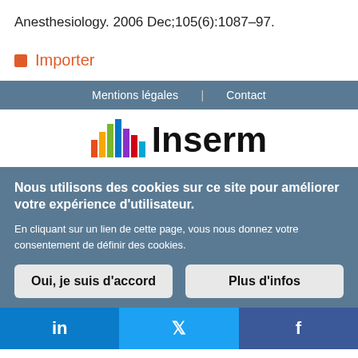Anesthesiology. 2006 Dec;105(6):1087–97.
Importer
Mentions légales | Contact
[Figure (logo): Inserm logo with colorful bar chart icon and bold Inserm text]
Nous utilisons des cookies sur ce site pour améliorer votre expérience d'utilisateur. En cliquant sur un lien de cette page, vous nous donnez votre consentement de définir des cookies.
Oui, je suis d'accord | Plus d'infos
[Figure (other): Social media bar with LinkedIn, Twitter, and Facebook icons]